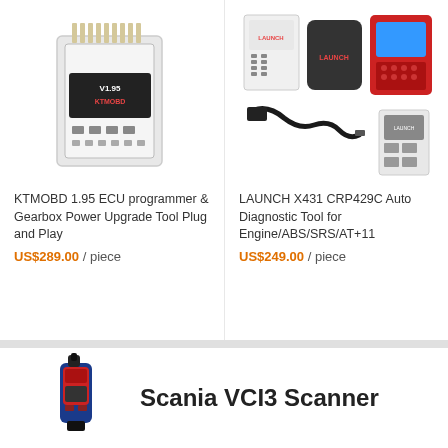[Figure (photo): KTMOBD 1.95 ECU programmer device - transparent case with pins]
KTMOBD 1.95 ECU programmer & Gearbox Power Upgrade Tool Plug and Play
US$289.00 / piece
[Figure (photo): LAUNCH X431 CRP429C Auto Diagnostic Tool - scanner, case, cables and device]
LAUNCH X431 CRP429C Auto Diagnostic Tool for Engine/ABS/SRS/AT+11
US$249.00 / piece
[Figure (photo): Scania VCI3 Scanner device - red and blue handheld scanner]
Scania VCI3 Scanner